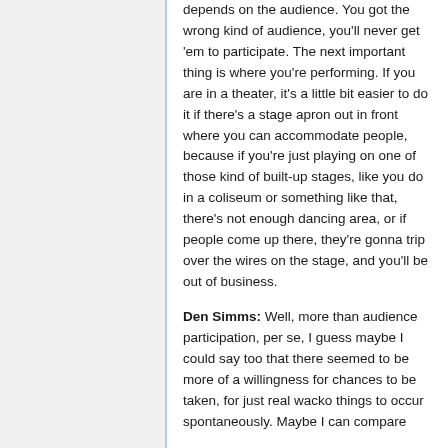depends on the audience. You got the wrong kind of audience, you'll never get 'em to participate. The next important thing is where you're performing. If you are in a theater, it's a little bit easier to do it if there's a stage apron out in front where you can accommodate people, because if you're just playing on one of those kind of built-up stages, like you do in a coliseum or something like that, there's not enough dancing area, or if people come up there, they're gonna trip over the wires on the stage, and you'll be out of business.
Den Simms: Well, more than audience participation, per se, I guess maybe I could say too that there seemed to be more of a willingness for chances to be taken, for just real wacko things to occur spontaneously. Maybe I can compare